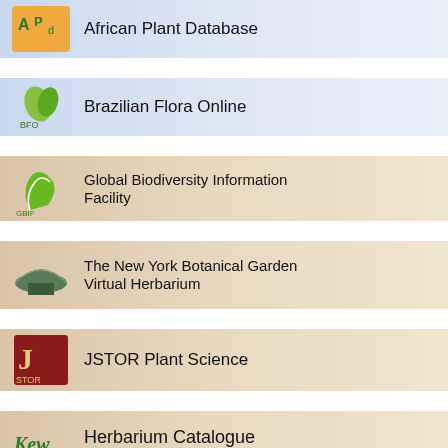African Plant Database
Brazilian Flora Online
Global Biodiversity Information Facility
The New York Botanical Garden Virtual Herbarium
JSTOR Plant Science
Herbarium Catalogue
Royal Botanic Gardens, Kew
National Center for Biotechnology Information
GenBank — Nucleotide